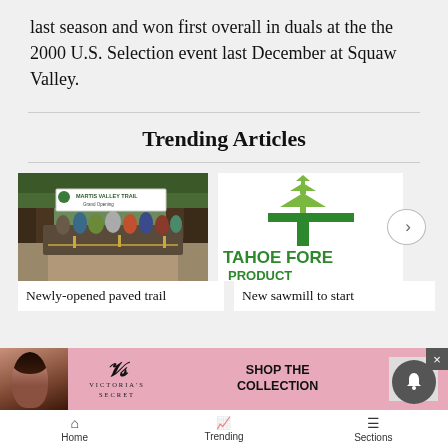last season and won first overall in duals at the the 2000 U.S. Selection event last December at Squaw Valley.
Trending Articles
[Figure (photo): Photo of crowd at Martis Valley Trail Grand Opening event outdoors with trees in background and a white banner sign]
Newly-opened paved trail
[Figure (logo): Tahoe Forest Products logo showing green triangle/tree icon above a large T letter with company name text]
New sawmill to start
[Figure (photo): Victoria's Secret advertisement banner showing a woman and text SHOP THE COLLECTION with SHOP NOW button]
Home   Trending   Sections